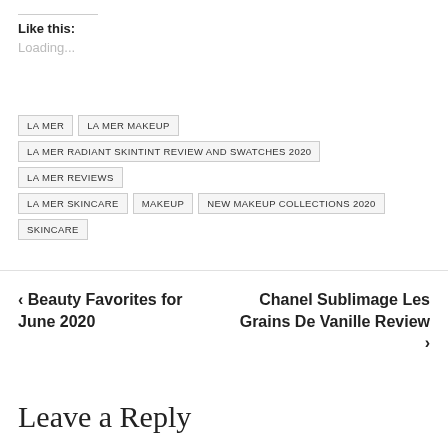Like this:
Loading...
LA MER
LA MER MAKEUP
LA MER RADIANT SKINTINT REVIEW AND SWATCHES 2020
LA MER REVIEWS
LA MER SKINCARE
MAKEUP
NEW MAKEUP COLLECTIONS 2020
SKINCARE
< Beauty Favorites for June 2020
Chanel Sublimage Les Grains De Vanille Review >
Leave a Reply